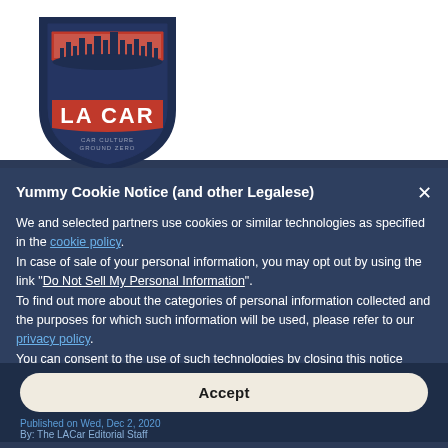[Figure (logo): LA CAR shield logo with city skyline, red and navy blue colors, text 'LA CAR' in red, 'CAR CULTURE GROUND ZERO' below]
Yummy Cookie Notice (and other Legalese)
We and selected partners use cookies or similar technologies as specified in the cookie policy.
In case of sale of your personal information, you may opt out by using the link "Do Not Sell My Personal Information".
To find out more about the categories of personal information collected and the purposes for which such information will be used, please refer to our privacy policy.
You can consent to the use of such technologies by closing this notice and/or by clicking "Accept".
Accept
Published on Wed, Dec 2, 2020
By: The LACar Editorial Staff